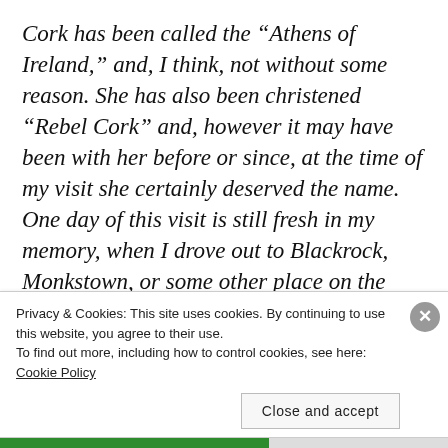Cork has been called the “Athens of Ireland,” and, I think, not without some reason. She has also been christened “Rebel Cork” and, however it may have been with her before or since, at the time of my visit she certainly deserved the name. One day of this visit is still fresh in my memory, when I drove out to Blackrock, Monkstown, or some other place on the route to Queenstown. We dined on the way,
Privacy & Cookies: This site uses cookies. By continuing to use this website, you agree to their use.
To find out more, including how to control cookies, see here: Cookie Policy
Close and accept